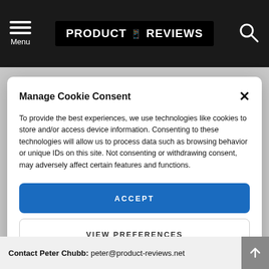PRODUCT REVIEWS — Menu / Search navigation bar
Manage Cookie Consent
To provide the best experiences, we use technologies like cookies to store and/or access device information. Consenting to these technologies will allow us to process data such as browsing behavior or unique IDs on this site. Not consenting or withdrawing consent, may adversely affect certain features and functions.
ACCEPT
VIEW PREFERENCES
Cookie Policy  Privacy Policy
Contact Peter Chubb: peter@product-reviews.net